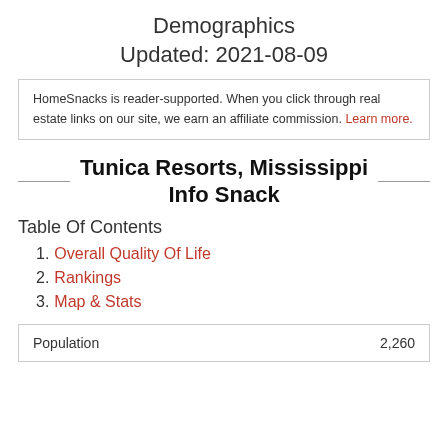Demographics
Updated: 2021-08-09
HomeSnacks is reader-supported. When you click through real estate links on our site, we earn an affiliate commission. Learn more.
Tunica Resorts, Mississippi Info Snack
Table Of Contents
1. Overall Quality Of Life
2. Rankings
3. Map & Stats
| Population |  |
| --- | --- |
| Population | 2,260 |